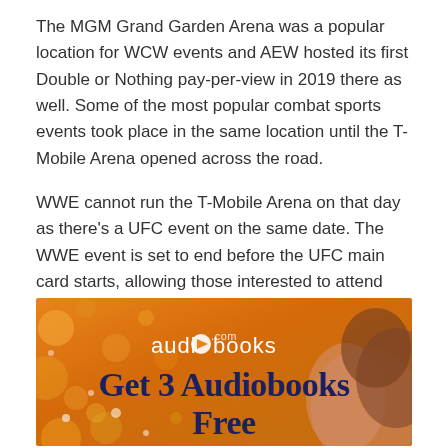The MGM Grand Garden Arena was a popular location for WCW events and AEW hosted its first Double or Nothing pay-per-view in 2019 there as well. Some of the most popular combat sports events took place in the same location until the T-Mobile Arena opened across the road.
WWE cannot run the T-Mobile Arena on that day as there's a UFC event on the same date. The WWE event is set to end before the UFC main card starts, allowing those interested to attend both shows.
[Figure (illustration): Advertisement for audiobooks.com: 'Get 3 Audiobooks Free' shown on an orange floral background with a woman's face partially visible. White text shows 'audiobooks.com' logo with play button icon. Large navy blue text reads 'Get 3 Audiobooks Free'.]